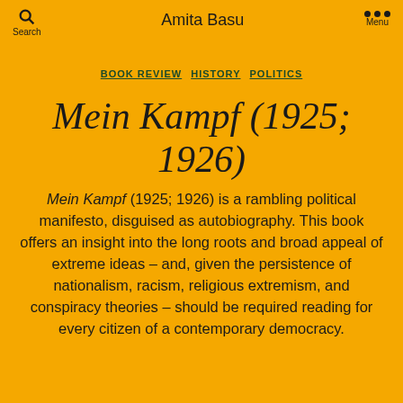Amita Basu
BOOK REVIEW  HISTORY  POLITICS
Mein Kampf (1925; 1926)
Mein Kampf (1925; 1926) is a rambling political manifesto, disguised as autobiography. This book offers an insight into the long roots and broad appeal of extreme ideas – and, given the persistence of nationalism, racism, religious extremism, and conspiracy theories – should be required reading for every citizen of a contemporary democracy.